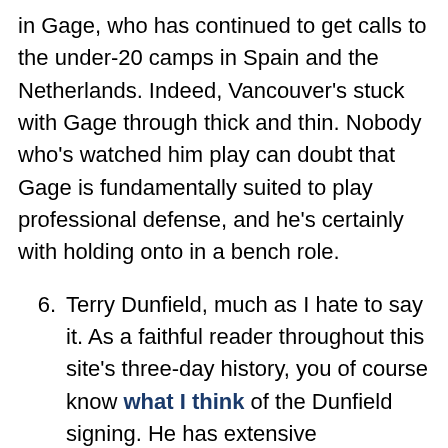in Gage, who has continued to get calls to the under-20 camps in Spain and the Netherlands. Indeed, Vancouver's stuck with Gage through thick and thin. Nobody who's watched him play can doubt that Gage is fundamentally suited to play professional defense, and he's certainly with holding onto in a bench role.
6. Terry Dunfield, much as I hate to say it. As a faithful reader throughout this site's three-day history, you of course know what I think of the Dunfield signing. He has extensive professional experience, however, and presumably the Whitecaps signed him for a reason. If we were to pick a Canadian who was likely to show up on the MLS team, Dunfield certainly has to be in the discussion regardless of my own opinion on his merits.